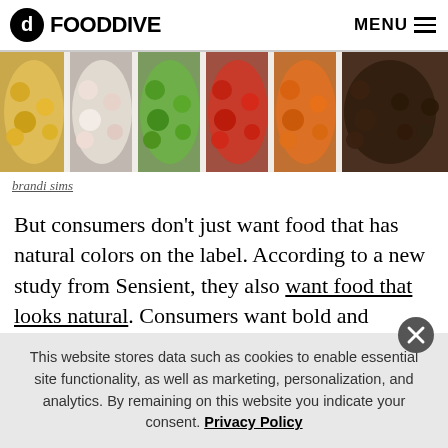FOOD DIVE  MENU
[Figure (photo): Bowls of colorful jelly beans arranged side by side: yellow/orange, white/pink, green, red, orange, and dark brown/black varieties.]
brandi sims
But consumers don't just want food that has natural colors on the label. According to a new study from Sensient, they also want food that looks natural. Consumers want bold and vibrant colors that mimic what
This website stores data such as cookies to enable essential site functionality, as well as marketing, personalization, and analytics. By remaining on this website you indicate your consent. Privacy Policy